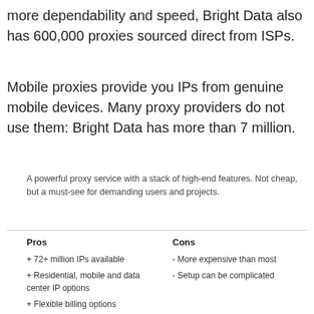more dependability and speed, Bright Data also has 600,000 proxies sourced direct from ISPs.
Mobile proxies provide you IPs from genuine mobile devices. Many proxy providers do not use them: Bright Data has more than 7 million.
A powerful proxy service with a stack of high-end features. Not cheap, but a must-see for demanding users and projects.
+ 72+ million IPs available
+ Residential, mobile and data center IP options
+ Flexible billing options
+ Powerful setup and management
- More expensive than most
- Setup can be complicated